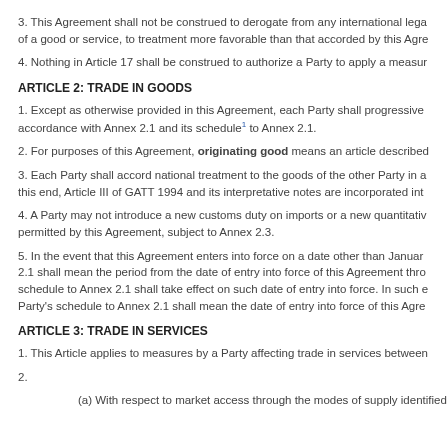3. This Agreement shall not be construed to derogate from any international lega of a good or service, to treatment more favorable than that accorded by this Agre
4. Nothing in Article 17 shall be construed to authorize a Party to apply a measur
ARTICLE 2: TRADE IN GOODS
1. Except as otherwise provided in this Agreement, each Party shall progressive accordance with Annex 2.1 and its schedule¹ to Annex 2.1.
2. For purposes of this Agreement, originating good means an article described
3. Each Party shall accord national treatment to the goods of the other Party in a this end, Article III of GATT 1994 and its interpretative notes are incorporated int
4. A Party may not introduce a new customs duty on imports or a new quantitativ permitted by this Agreement, subject to Annex 2.3.
5. In the event that this Agreement enters into force on a date other than Januar 2.1 shall mean the period from the date of entry into force of this Agreement thro schedule to Annex 2.1 shall take effect on such date of entry into force. In such e Party's schedule to Annex 2.1 shall mean the date of entry into force of this Agre
ARTICLE 3: TRADE IN SERVICES
1. This Article applies to measures by a Party affecting trade in services between
2.
(a) With respect to market access through the modes of supply identified